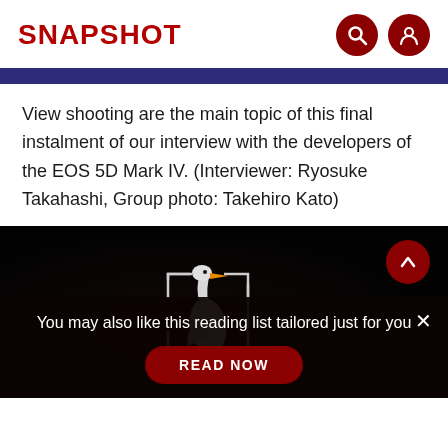SNAPSHOT
View shooting are the main topic of this final instalment of our interview with the developers of the EOS 5D Mark IV. (Interviewer: Ryosuke Takahashi, Group photo: Takehiro Kato)
[Figure (photo): A heron/egret bird photographed in dark conditions with a camera autofocus bracket visible, showing wildlife photography with the EOS 5D Mark IV.]
You may also like this reading list tailored just for you
READ NOW